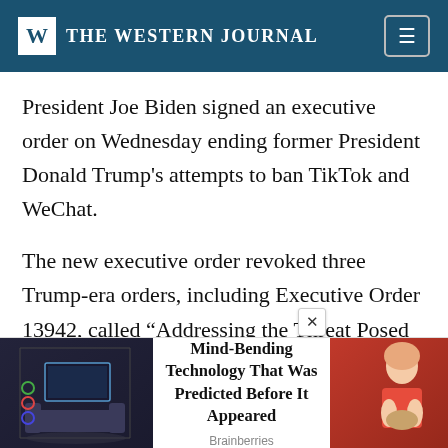THE WESTERN JOURNAL
President Joe Biden signed an executive order on Wednesday ending former President Donald Trump's attempts to ban TikTok and WeChat.
The new executive order revoked three Trump-era orders, including Executive Order 13942, called “Addressing the Threat Posed by TikTok, and Taking Additional Steps To Address the National Emergency With Respect to the Information and Communication
[Figure (infographic): Advertisement banner: left shows a dark smart home interior image, center shows text 'Mind-Bending Technology That Was Predicted Before It Appeared' with source 'Brainberries', right shows a photo of a girl on red background. Close X button visible.]